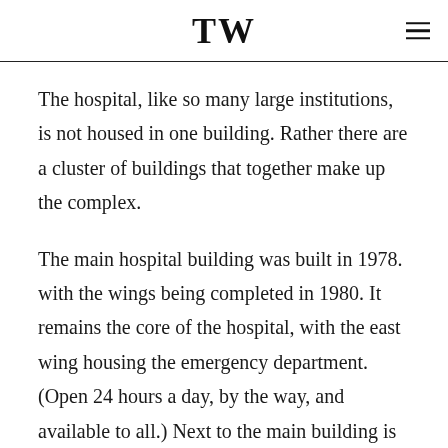TW
The hospital, like so many large institutions, is not housed in one building. Rather there are a cluster of buildings that together make up the complex.
The main hospital building was built in 1978. with the wings being completed in 1980. It remains the core of the hospital, with the east wing housing the emergency department. (Open 24 hours a day, by the way, and available to all.) Next to the main building is the oldest building, which still acts as an extension of the hospital. There are several other major buildings as